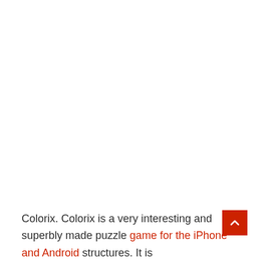Colorix. Colorix is a very interesting and superbly made puzzle game for the iPhone and Android structures. It is